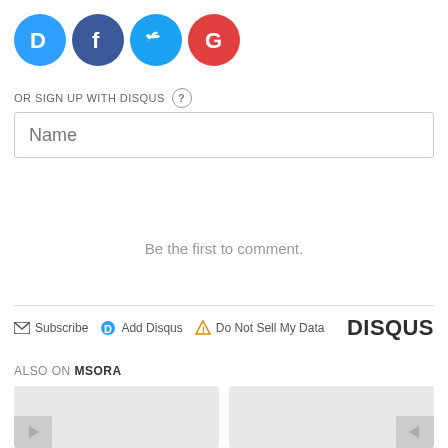[Figure (logo): Social login icons: Disqus (blue D), Facebook (dark blue f), Twitter (light blue bird), Google (red G)]
OR SIGN UP WITH DISQUS ?
Name
Be the first to comment.
Subscribe  Add Disqus  Do Not Sell My Data    DISQUS
ALSO ON MSORA
[Figure (screenshot): Two content card thumbnails partially visible at the bottom]